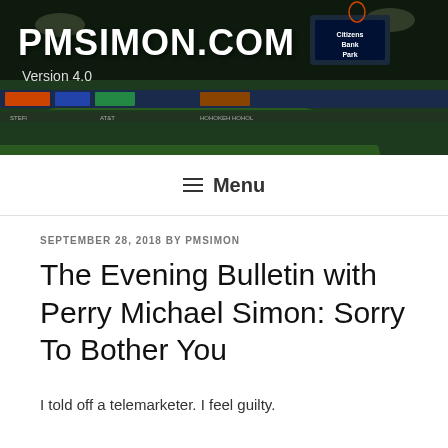[Figure (photo): Website header banner showing a baseball stadium (Citizens Bank Park) with crowds, green field, and scoreboard at night. Dark green/night atmosphere.]
PMSIMON.COM
Version 4.0
Menu
SEPTEMBER 28, 2018 BY PMSIMON
The Evening Bulletin with Perry Michael Simon: Sorry To Bother You
I told off a telemarketer. I feel guilty.